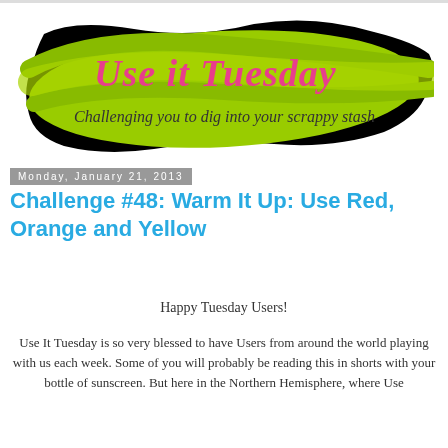[Figure (logo): Use it Tuesday blog logo: green brushstroke background with pink cursive 'Use it Tuesday' text and dark italic subtitle 'Challenging you to dig into your scrappy stash']
Monday, January 21, 2013
Challenge #48: Warm It Up: Use Red, Orange and Yellow
Happy Tuesday Users!
Use It Tuesday is so very blessed to have Users from around the world playing with us each week. Some of you will probably be reading this in shorts with your bottle of sunscreen. But here in the Northern Hemisphere, where Use